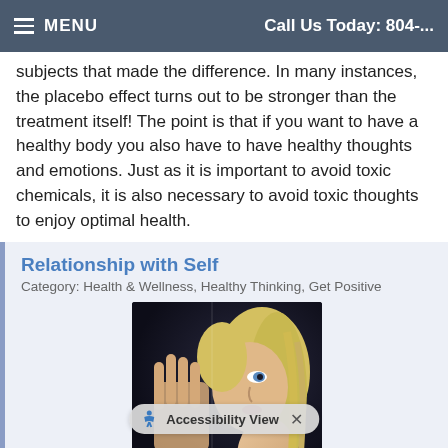MENU | Call Us Today: 804-...
subjects that made the difference. In many instances, the placebo effect turns out to be stronger than the treatment itself! The point is that if you want to have a healthy body you also have to have healthy thoughts and emotions. Just as it is important to avoid toxic chemicals, it is also necessary to avoid toxic thoughts to enjoy optimal health.
Relationship with Self
Category: Health & Wellness, Healthy Thinking, Get Positive
[Figure (photo): Woman with blonde hair looking at her reflection in a mirror/glass surface, pressing her hand against it]
Your relationship with your self is the most important relationship because i... u go there you are. Wellness beg... t and then